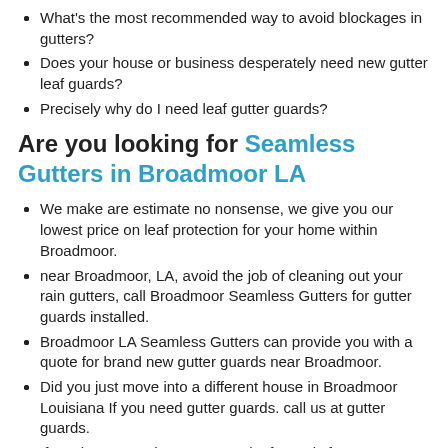What's the most recommended way to avoid blockages in gutters?
Does your house or business desperately need new gutter leaf guards?
Precisely why do I need leaf gutter guards?
Are you looking for Seamless Gutters in Broadmoor LA
We make are estimate no nonsense, we give you our lowest price on leaf protection for your home within Broadmoor.
near Broadmoor, LA, avoid the job of cleaning out your rain gutters, call Broadmoor Seamless Gutters for gutter guards installed.
Broadmoor LA Seamless Gutters can provide you with a quote for brand new gutter guards near Broadmoor.
Did you just move into a different house in Broadmoor Louisiana If you need gutter guards. call us at gutter guards.
If you have questions on gutter leaf guards for your Broadmoor, LA home, contact us we can to help right away!
Broadmoor Seamless Gutters is a leader in decreasing the cost with better equipment for gutter guards for customers in Broadmoor.